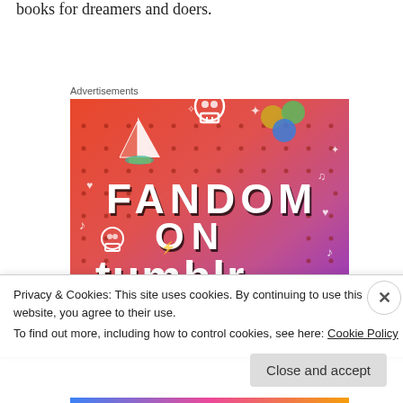books for dreamers and doers.
Advertisements
[Figure (illustration): Fandom on Tumblr advertisement banner with colorful gradient background (orange to purple), featuring white doodle icons (skull, sailboat, dice, music notes, arrows, hearts), and bold text reading FANDOM ON tumblr]
Privacy & Cookies: This site uses cookies. By continuing to use this website, you agree to their use.
To find out more, including how to control cookies, see here: Cookie Policy
Close and accept